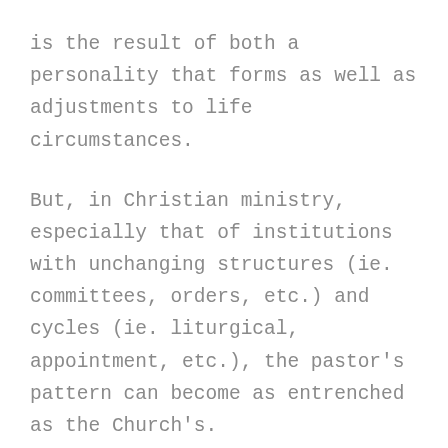is the result of both a personality that forms as well as adjustments to life circumstances.
But, in Christian ministry, especially that of institutions with unchanging structures (ie. committees, orders, etc.) and cycles (ie. liturgical, appointment, etc.), the pastor’s pattern can become as entrenched as the Church’s.
There is no judgment about this.  It is both about conviction and optimization.  Our